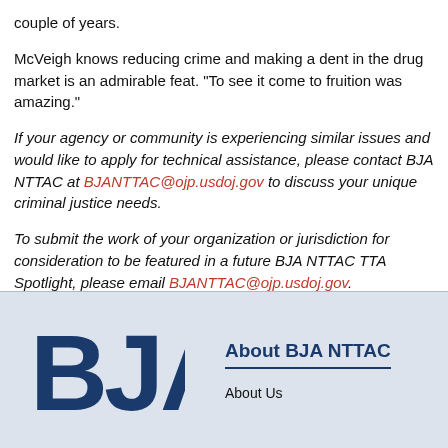couple of years.
McVeigh knows reducing crime and making a dent in the drug market is an admirable feat. "To see it come to fruition was amazing."
If your agency or community is experiencing similar issues and would like to apply for technical assistance, please contact BJA NTTAC at BJANTTAC@ojp.usdoj.gov to discuss your unique criminal justice needs.
To submit the work of your organization or jurisdiction for consideration to be featured in a future BJA NTTAC TTA Spotlight, please email BJANTTAC@ojp.usdoj.gov.
[Figure (logo): BJA logo in dark blue bold letters]
About BJA NTTAC
About Us